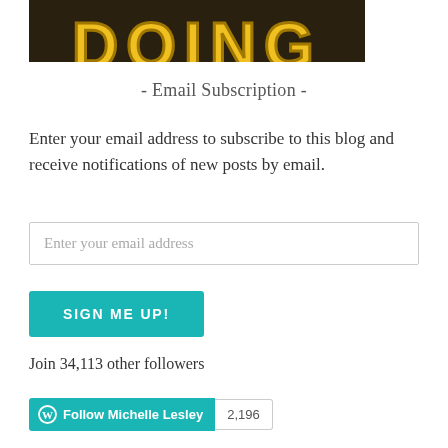[Figure (photo): Partial photo showing yellow letters spelling 'DOING' on a jersey or sign, cropped at top]
- Email Subscription -
Enter your email address to subscribe to this blog and receive notifications of new posts by email.
Enter your email address
SIGN ME UP!
Join 34,113 other followers
Follow Michelle Lesley  2,196